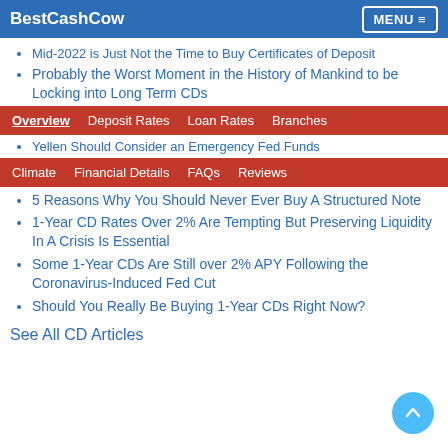BestCashCow  MENU
Mid-2022 is Just Not the Time to Buy Certificates of Deposit
Probably the Worst Moment in the History of Mankind to be Locking into Long Term CDs
Overview  Deposit Rates  Loan Rates  Branches
Yellen Should Consider an Emergency Fed Funds
Climate  Financial Details  FAQs  Reviews
5 Reasons Why You Should Never Ever Buy A Structured Note
1-Year CD Rates Over 2% Are Tempting But Preserving Liquidity In A Crisis Is Essential
Some 1-Year CDs Are Still over 2% APY Following the Coronavirus-Induced Fed Cut
Should You Really Be Buying 1-Year CDs Right Now?
See All CD Articles